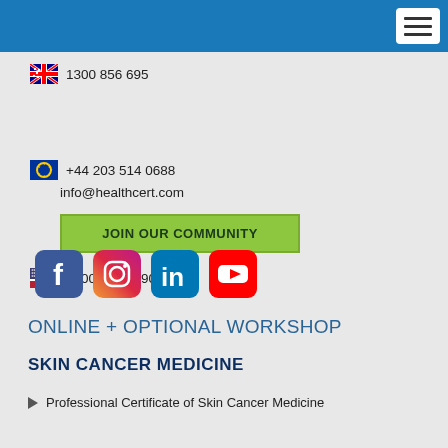HealthCert navigation header
🇦🇺 1300 856 695
🇪🇺 +44 203 514 0688
🇺🇸 1800 867 1390
info@healthcert.com
JOIN OUR COMMUNITY
[Figure (logo): Social media icons: Facebook, Instagram, LinkedIn, YouTube]
ONLINE + OPTIONAL WORKSHOP
SKIN CANCER MEDICINE
Professional Certificate of Skin Cancer Medicine